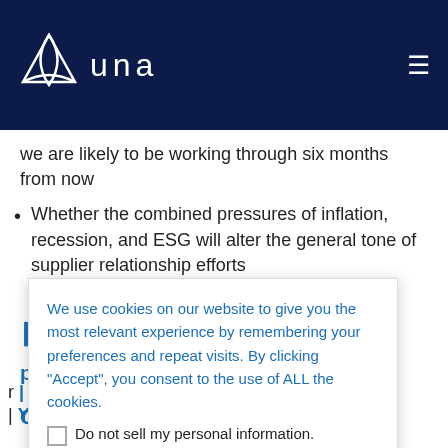UNA
we are likely to be working through six months from now
Whether the combined pressures of inflation, recession, and ESG will alter the general tone of supplier relationship efforts
We use cookies on our website to give you the most relevant experience by remembering your preferences and repeat visits. By clicking “Accept”, you consent to the use of ALL the cookies.
Do not sell my personal information.
Cookie Settings | Accept
r | Instagram
| YouTube